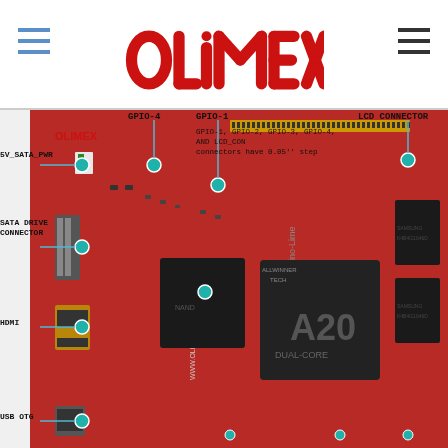[Figure (logo): Olimex red circuit-style logo at top center]
[Figure (engineering-diagram): A20-OLinuXino-Lime circuit board diagram with labeled connectors: GPIO-4, GPIO-1, LCD CONNECTOR, 5V_SATA_PWR, SATA DRIVE CONNECTOR, HDMI, USB OTG. Note: GPIO-1, GPIO-2, GPIO-3, GPIO-4, AND LCD_CON connectors have 0.05'' step]